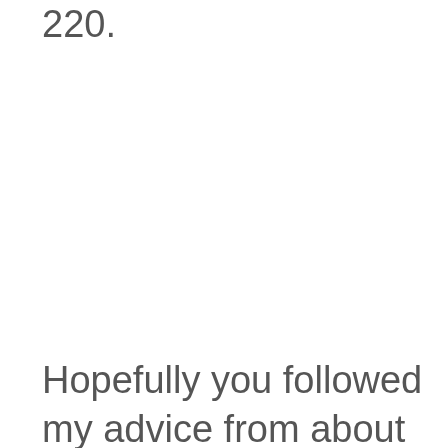220.
Hopefully you followed my advice from about 2 seconds ago and stayed